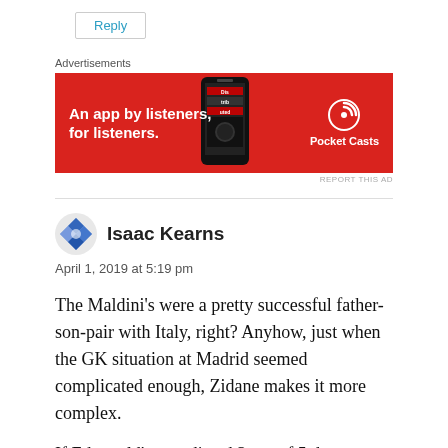Reply
[Figure (other): Advertisement banner for Pocket Casts app: red background with text 'An app by listeners, for listeners.' and Pocket Casts logo with phone graphic]
REPORT THIS AD
Isaac Kearns
April 1, 2019 at 5:19 pm
The Maldini's were a pretty successful father-son-pair with Italy, right? Anyhow, just when the GK situation at Madrid seemed complicated enough, Zidane makes it more complex.
If Ed would've predicted 3 out of 5 draws on